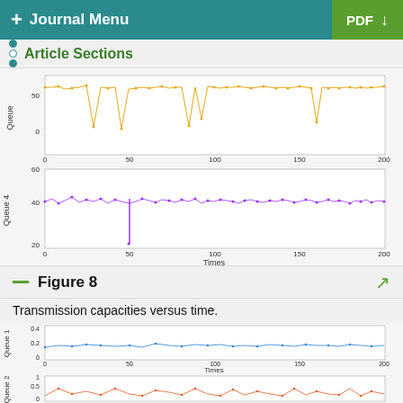+ Journal Menu   PDF ↓
Article Sections
[Figure (continuous-plot): Two stacked time-series plots. Top: Queue (y-axis 0-50) vs time (0-200), orange scatter/line data clustered near 45-50 with dips. Bottom: Queue 4 (y-axis 20-60) vs Times (0-200), purple scatter data near 45-50 with one spike down to ~18 at time 50.]
Figure 8
Transmission capacities versus time.
[Figure (continuous-plot): Two stacked time-series plots. Top: Queue 1 (y-axis 0-0.4) vs Times (0-200), blue scatter data near 0.2. Bottom: Queue 2 (y-axis 0-1) vs Times (0-200), orange/red scatter data between 0 and 0.5.]